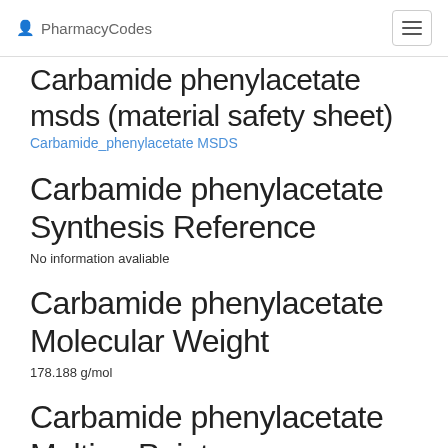PharmacyCodes
Carbamide phenylacetate msds (material safety sheet)
Carbamide_phenylacetate MSDS
Carbamide phenylacetate Synthesis Reference
No information avaliable
Carbamide phenylacetate Molecular Weight
178.188 g/mol
Carbamide phenylacetate Melting Point